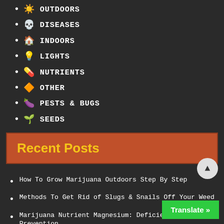OUTDOORS
DISEASES
INDOORS
LIGHTS
NUTRIENTS
OTHER
PESTS & BUGS
SEEDS
Recent Posts
How To Grow Marijuana Outdoors Step By Step
Methods To Get Rid of Slugs & Snails Off Your Weed
Marijuana Nutrient Magnesium: Deficiency & Prevention
Pythium Root Rot Disease Cannabis